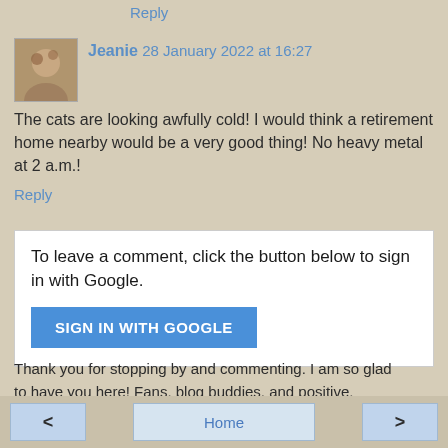Reply
Jeanie 28 January 2022 at 16:27
The cats are looking awfully cold! I would think a retirement home nearby would be a very good thing! No heavy metal at 2 a.m.!
Reply
To leave a comment, click the button below to sign in with Google.
SIGN IN WITH GOOGLE
Thank you for stopping by and commenting. I am so glad to have you here! Fans, blog buddies, and positive, constructive comments, from bloggers, make my day. 'Anonymous' creeps me out!
< Home >